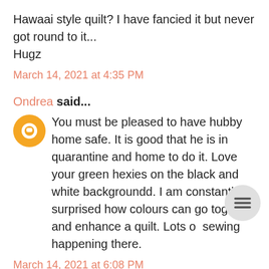Hawaai style quilt? I have fancied it but never got round to it... Hugz
March 14, 2021 at 4:35 PM
Ondrea said...
You must be pleased to have hubby home safe. It is good that he is in quarantine and home to do it. Love your green hexies on the black and white backgroundd. I am constantly surprised how colours can go together and enhance a quilt. Lots of sewing happening there.
March 14, 2021 at 6:08 PM